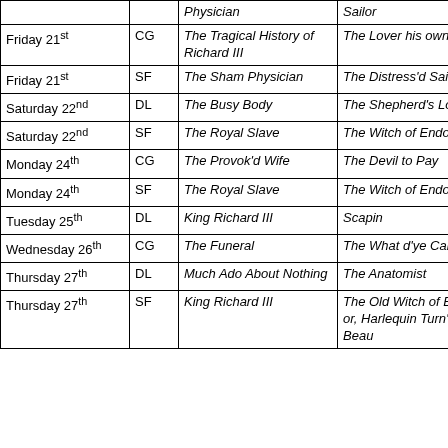| Date | Theatre | Mainpiece | Afterpiece |
| --- | --- | --- | --- |
|  |  | Physician | Sailor |
| Friday 21st | CG | The Tragical History of Richard III | The Lover his own Rival |
| Friday 21st | SF | The Sham Physician | The Distress'd Sailor |
| Saturday 22nd | DL | The Busy Body | The Shepherd's Lottery |
| Saturday 22nd | SF | The Royal Slave | The Witch of Endor |
| Monday 24th | CG | The Provok'd Wife | The Devil to Pay |
| Monday 24th | SF | The Royal Slave | The Witch of Endor |
| Tuesday 25th | DL | King Richard III | Scapin |
| Wednesday 26th | CG | The Funeral | The What d'ye Call It |
| Thursday 27th | DL | Much Ado About Nothing | The Anatomist |
| Thursday 27th | SF | King Richard III | The Old Witch of Endor or, Harlequin Turn'd Beau |